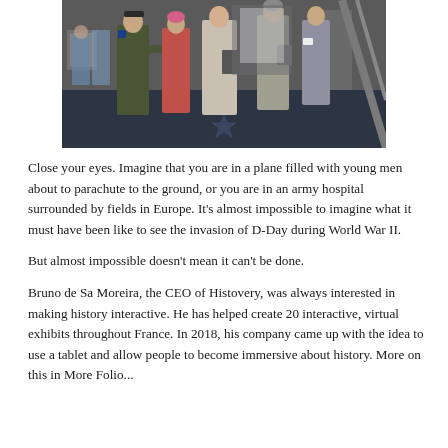[Figure (photo): People gathered in what appears to be a museum or exhibit hall. A person in military uniform (olive/dark jacket with patches) is visible on the left, holding something. Others stand around looking at displays. The floor has a star emblem. Exhibit structures visible in background.]
Close your eyes. Imagine that you are in a plane filled with young men about to parachute to the ground, or you are in an army hospital surrounded by fields in Europe. It's almost impossible to imagine what it must have been like to see the invasion of D-Day during World War II.
But almost impossible doesn't mean it can't be done.
Bruno de Sa Moreira, the CEO of Histovery, was always interested in making history interactive. He has helped create 20 interactive, virtual exhibits throughout France. In 2018, his company came up with the idea to use a tablet and allow people to become immersive about history. More on this in More Folio...